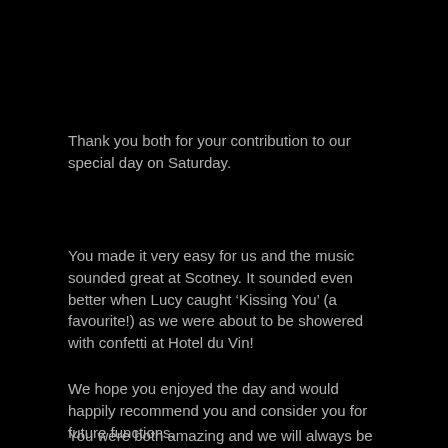Thank you both for your contribution to our special day on Saturday.
You made it very easy for us and the music sounded great at Scotney. It sounded even better when Lucy caught ‘Kissing You’ (a favourite!) as we were about to be showered with confetti at Hotel du Vin!
We hope you enjoyed the day and would happily recommend you and consider you for future functions.
You were both amazing and we will always be